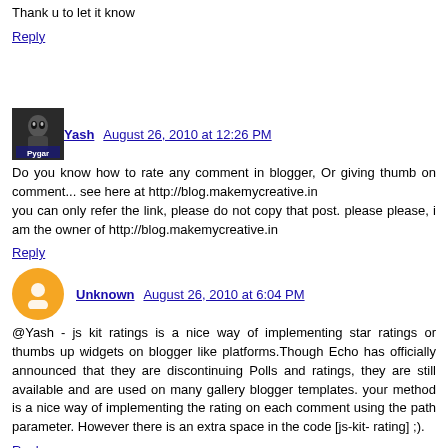Thank u to let it know
Reply
Yash  August 26, 2010 at 12:26 PM
Do you know how to rate any comment in blogger, Or giving thumb on comment... see here at http://blog.makemycreative.in
you can only refer the link, please do not copy that post. please please, i am the owner of http://blog.makemycreative.in
Reply
Unknown  August 26, 2010 at 6:04 PM
@Yash - js kit ratings is a nice way of implementing star ratings or thumbs up widgets on blogger like platforms.Though Echo has officially announced that they are discontinuing Polls and ratings, they are still available and are used on many gallery blogger templates. your method is a nice way of implementing the rating on each comment using the path parameter. However there is an extra space in the code [js-kit- rating] ;).
Reply